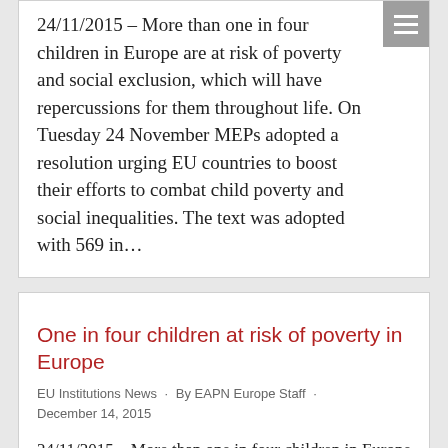24/11/2015 – More than one in four children in Europe are at risk of poverty and social exclusion, which will have repercussions for them throughout life. On Tuesday 24 November MEPs adopted a resolution urging EU countries to boost their efforts to combat child poverty and social inequalities. The text was adopted with 569 in…
One in four children at risk of poverty in Europe
EU Institutions News · By EAPN Europe Staff · December 14, 2015
24/11/2015 – More than one in four children in Europe are at risk of poverty and social exclusion, which will have repercussions for them throughout life. On Tuesday 24